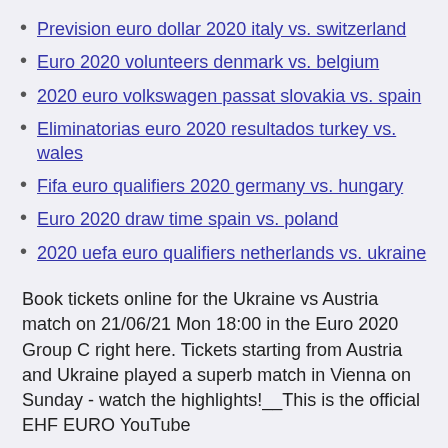Prevision euro dollar 2020 italy vs. switzerland
Euro 2020 volunteers denmark vs. belgium
2020 euro volkswagen passat slovakia vs. spain
Eliminatorias euro 2020 resultados turkey vs. wales
Fifa euro qualifiers 2020 germany vs. hungary
Euro 2020 draw time spain vs. poland
2020 uefa euro qualifiers netherlands vs. ukraine
Book tickets online for the Ukraine vs Austria match on 21/06/21 Mon 18:00 in the Euro 2020 Group C right here. Tickets starting from Austria and Ukraine played a superb match in Vienna on Sunday - watch the highlights!__This is the official EHF EURO YouTube